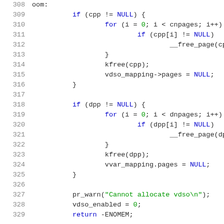Source code snippet (C), lines 308-329, showing oom error handling with cpp and dpp pointer cleanup, pr_warn, vdso_enabled reset, and return -ENOMEM.